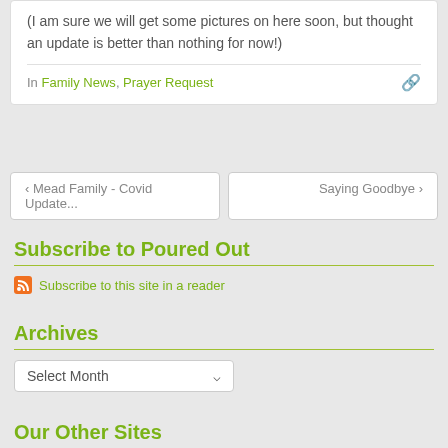(I am sure we will get some pictures on here soon, but thought an update is better than nothing for now!)
In Family News, Prayer Request
‹ Mead Family - Covid Update...
Saying Goodbye ›
Subscribe to Poured Out
Subscribe to this site in a reader
Archives
Select Month
Our Other Sites